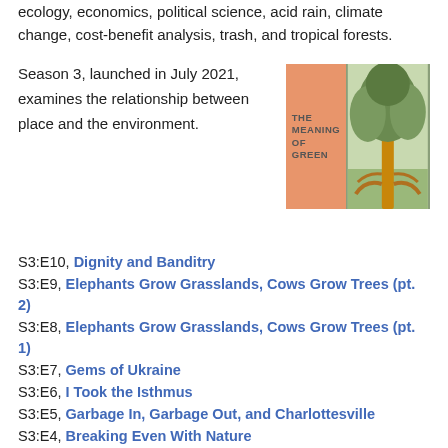ecology, economics, political science, acid rain, climate change, cost-benefit analysis, trash, and tropical forests.
Season 3, launched in July 2021, examines the relationship between place and the environment.
[Figure (illustration): Book cover for 'The Meaning of Green' — left half is orange/salmon with the title text, right half shows a photo of a large tree with exposed roots in a green landscape.]
S3:E10, Dignity and Banditry
S3:E9, Elephants Grow Grasslands, Cows Grow Trees (pt. 2)
S3:E8, Elephants Grow Grasslands, Cows Grow Trees (pt. 1)
S3:E7, Gems of Ukraine
S3:E6, I Took the Isthmus
S3:E5, Garbage In, Garbage Out, and Charlottesville
S3:E4, Breaking Even With Nature
S3:E3, Some Germans Wake Up Earlier
S3:E2, The Power Game
S3:E1, Coal Dust Is Black